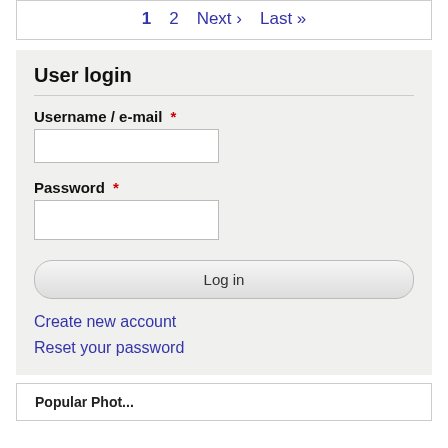1   2   Next ›   Last »
User login
Username / e-mail *
Password *
Log in
Create new account
Reset your password
Popular Phot...